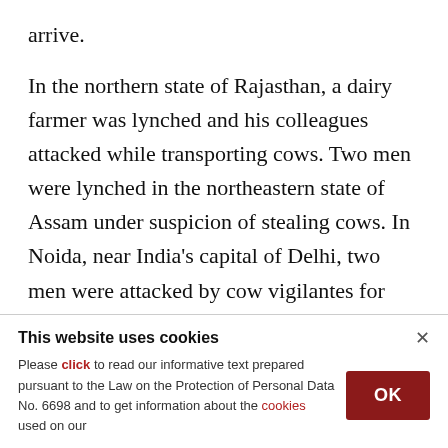arrive.
In the northern state of Rajasthan, a dairy farmer was lynched and his colleagues attacked while transporting cows. Two men were lynched in the northeastern state of Assam under suspicion of stealing cows. In Noida, near India's capital of Delhi, two men were attacked by cow vigilantes for transporting the cows to their home after purchasing them from a market.
This website uses cookies
Please click to read our informative text prepared pursuant to the Law on the Protection of Personal Data No. 6698 and to get information about the cookies used on our